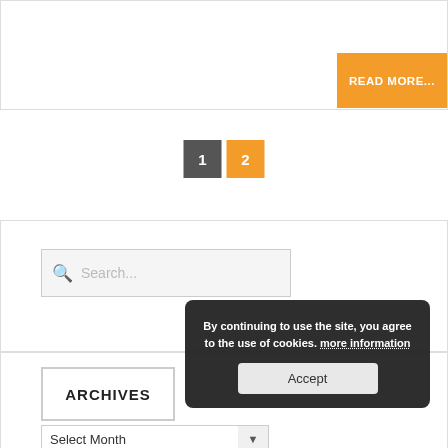[Figure (screenshot): READ MORE... orange button at top right of a bordered white content card]
[Figure (screenshot): Pagination with buttons 1 (dark grey) and 2 (orange)]
[Figure (screenshot): Search box with magnifying glass icon and placeholder text Search...]
[Figure (screenshot): ARCHIVES widget label and Select Month dropdown]
By continuing to use the site, you agree to the use of cookies. more information
Accept